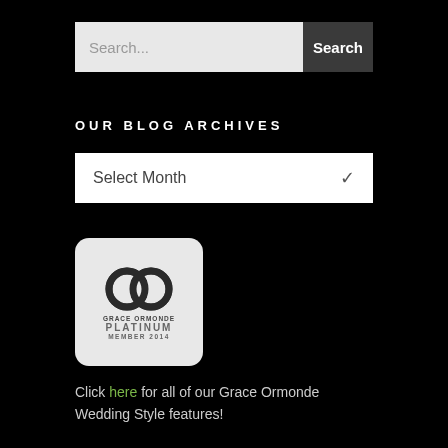[Figure (screenshot): Search bar with light gray input field showing 'Search...' placeholder and dark gray 'Search' button]
OUR BLOG ARCHIVES
[Figure (screenshot): Dropdown select box showing 'Select Month' with a chevron arrow on the right]
[Figure (logo): Grace Ormonde Platinum Member 2014 badge with interlocking circles logo on light gray rounded rectangle background]
Click here for all of our Grace Ormonde Wedding Style features!